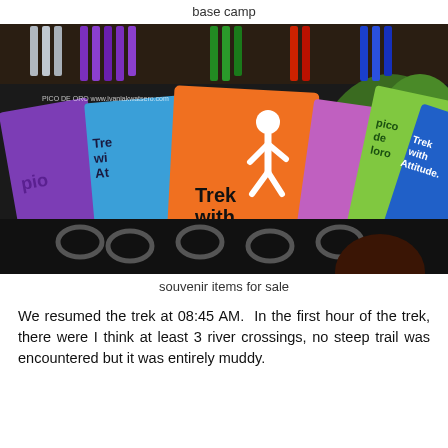base camp
[Figure (photo): Colorful souvenir keychains and luggage tags with 'Trek with Attitude.' branding displayed at a base camp shop. Tags are orange, blue, green, purple with carabiner clips. Watermark: PICO DE ORO www.ivaniakwatsero.com]
souvenir items for sale
We resumed the trek at 08:45 AM.  In the first hour of the trek, there were I think at least 3 river crossings, no steep trail was encountered but it was entirely muddy.